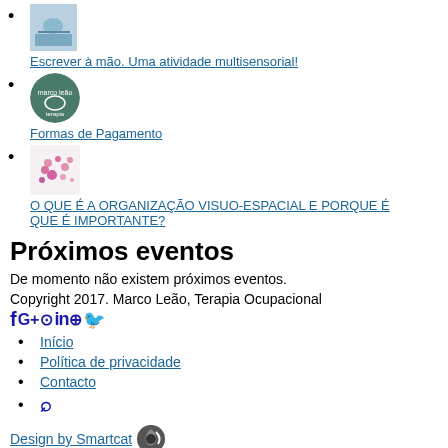Escrever à mão. Uma atividade multisensorial!
Formas de Pagamento
O QUE É A ORGANIZAÇÃO VISUO-ESPACIAL E PORQUE É QUE É IMPORTANTE?
Próximos eventos
De momento não existem próximos eventos.
Copyright 2017. Marco Leão, Terapia Ocupacional
Início
Política de privacidade
Contacto
🔍
Design by Smartcat